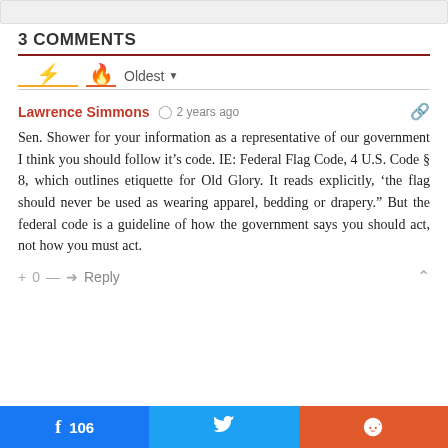3 COMMENTS
Lawrence Simmons  2 years ago
Sen. Shower for your information as a representative of our government I think you should follow it’s code. IE: Federal Flag Code, 4 U.S. Code § 8, which outlines etiquette for Old Glory. It reads explicitly, ‘the flag should never be used as wearing apparel, bedding or drapery.” But the federal code is a guideline of how the government says you should act, not how you must act.
+ 0 —  Reply